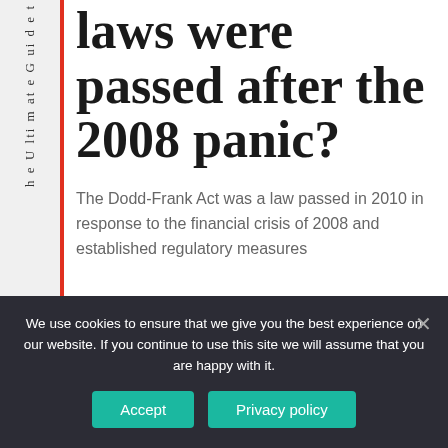The Ultimate Guide
laws were passed after the 2008 panic?
The Dodd-Frank Act was a law passed in 2010 in response to the financial crisis of 2008 and established regulatory measures
We use cookies to ensure that we give you the best experience on our website. If you continue to use this site we will assume that you are happy with it.